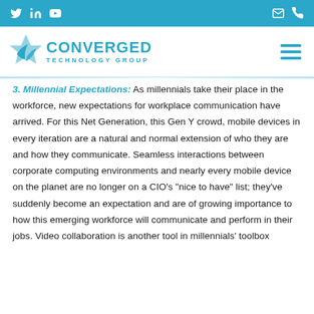Converged Technology Group – social/nav bar
[Figure (logo): Converged Technology Group logo with blue star/leaf icon and teal text]
3. Millennial Expectations: As millennials take their place in the workforce, new expectations for workplace communication have arrived. For this Net Generation, this Gen Y crowd, mobile devices in every iteration are a natural and normal extension of who they are and how they communicate. Seamless interactions between corporate computing environments and nearly every mobile device on the planet are no longer on a CIO's "nice to have" list; they've suddenly become an expectation and are of growing importance to how this emerging workforce will communicate and perform in their jobs. Video collaboration is another tool in millennials' toolbox